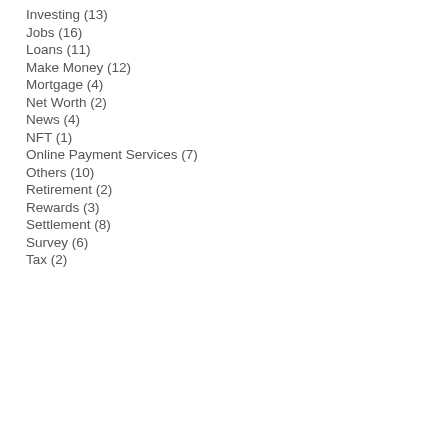Investing (13)
Jobs (16)
Loans (11)
Make Money (12)
Mortgage (4)
Net Worth (2)
News (4)
NFT (1)
Online Payment Services (7)
Others (10)
Retirement (2)
Rewards (3)
Settlement (8)
Survey (6)
Tax (2)